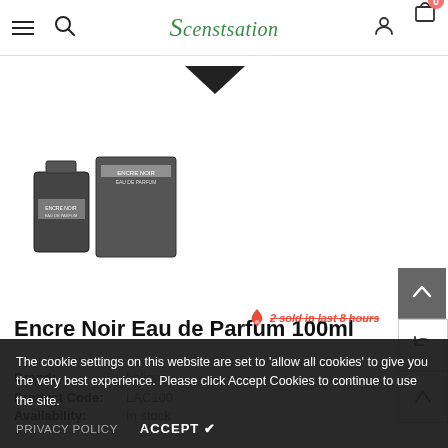Scentsation — navigation header with hamburger menu, search, logo, user and cart icons (0 items)
[Figure (photo): Product photo of Encre Noir Eau de Parfum 100ml — dark square perfume bottle with box, shown on white background. A black downward-pointing arrow is visible above.]
Encre Noir Eau de Parfum 100ml
2 sold in last 8 hours
Brand: Lalique
Product Code: LAC100
Availability: In stock
The cookie settings on this website are set to 'allow all cookies' to give you the very best experience. Please click Accept Cookies to continue to use the site.
PRIVACY POLICY    ACCEPT ✔